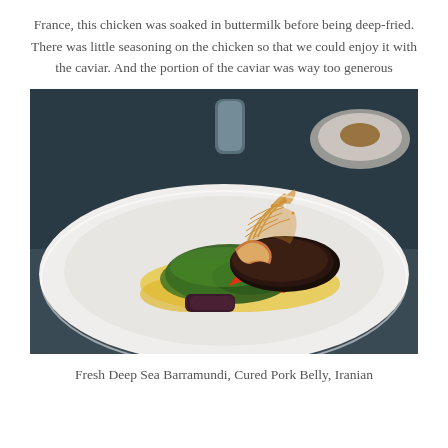France, this chicken was soaked in buttermilk before being deep-fried. There was little seasoning on the chicken so that we could enjoy it with the caviar. And the portion of the caviar was way too generous
[Figure (photo): A plated fine dining dish on a white plate featuring what appears to be fish or meat with kale, red pepper strips, dark vegetables, a golden sauce, and a delicate lace-like crispy garnish on top. Another dish is visible in the background.]
Fresh Deep Sea Barramundi, Cured Pork Belly, Iranian